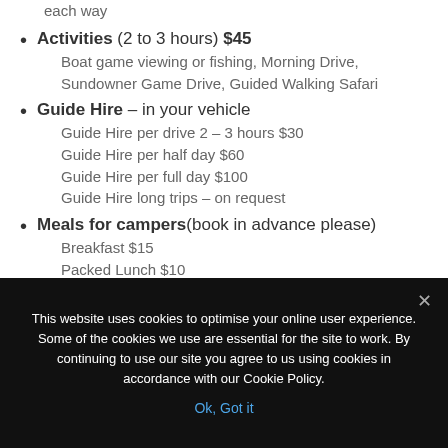each way
Activities (2 to 3 hours) $45
Boat game viewing or fishing, Morning Drive, Sundowner Game Drive, Guided Walking Safari
Guide Hire – in your vehicle
Guide Hire per drive 2 – 3 hours $30
Guide Hire per half day $60
Guide Hire per full day $100
Guide Hire long trips – on request
Meals for campers(book in advance please)
Breakfast $15
Packed Lunch $10
This website uses cookies to optimise your online user experience. Some of the cookies we use are essential for the site to work. By continuing to use our site you agree to us using cookies in accordance with our Cookie Policy.
Ok, Got it